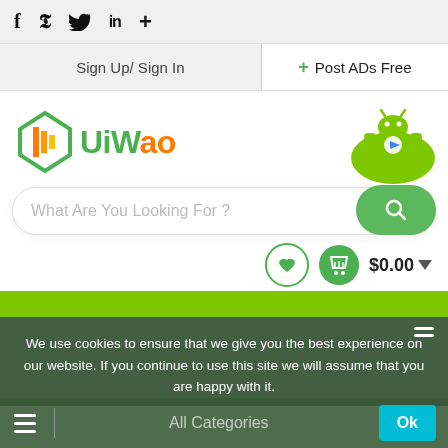f  y  in  +
Sign Up/ Sign In
+ Post ADs Free
[Figure (logo): UiWao logo with green geometric W-shape icon and orange/green text 'UiWao']
[Figure (illustration): Android mascot robot on a green rounded rectangle, with Google Play triangle icon on chest]
What Are You Looking For ?
$0.00
We use cookies to ensure that we give you the best experience on our website. If you continue to use this site we will assume that you are happy with it.
All Categories
Ok